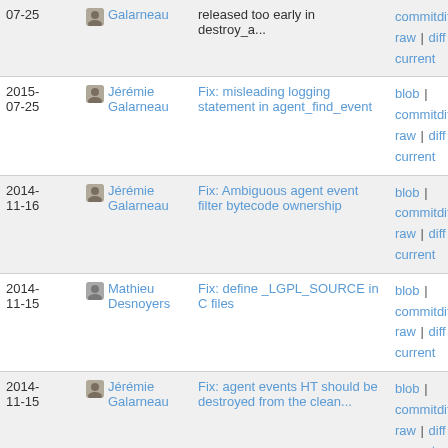| Date | Author | Commit | Actions |
| --- | --- | --- | --- |
| 07-25 | Galarneau | released too early in destroy_a... | commitdiff | raw | diff to current |
| 2015-07-25 | Jérémie Galarneau | Fix: misleading logging statement in agent_find_event | blob | commitdiff | raw | diff to current |
| 2014-11-16 | Jérémie Galarneau | Fix: Ambiguous agent event filter bytecode ownership | blob | commitdiff | raw | diff to current |
| 2014-11-15 | Mathieu Desnoyers | Fix: define _LGPL_SOURCE in C files | blob | commitdiff | raw | diff to current |
| 2014-11-15 | Jérémie Galarneau | Fix: agent events HT should be destroyed from the clean... | blob | commitdiff | raw | diff to current |
| 2014-10-22 | David Goulet | Add Python agent support | blob | commitdiff | ... |